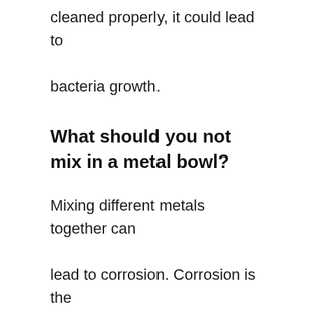cleaned properly, it could lead to bacteria growth.
What should you not mix in a metal bowl?
Mixing different metals together can lead to corrosion. Corrosion is the process where two dissimilar materials combine to form a new compound. It